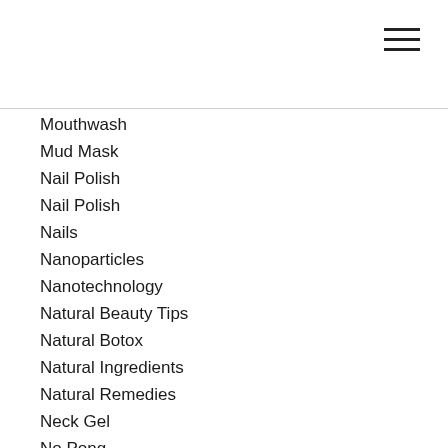Mouthwash
Mud Mask
Nail Polish
Nail Polish
Nails
Nanoparticles
Nanotechnology
Natural Beauty Tips
Natural Botox
Natural Ingredients
Natural Remedies
Neck Gel
No Pong
Nordgreen
Nutrition
Oily Skin